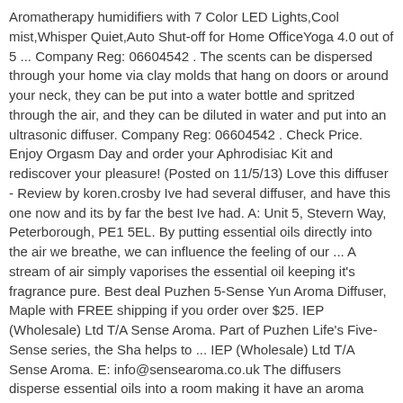Aromatherapy humidifiers with 7 Color LED Lights,Cool mist,Whisper Quiet,Auto Shut-off for Home OfficeYoga 4.0 out of 5 ... Company Reg: 06604542 . The scents can be dispersed through your home via clay molds that hang on doors or around your neck, they can be put into a water bottle and spritzed through the air, and they can be diluted in water and put into an ultrasonic diffuser. Company Reg: 06604542 . Check Price. Enjoy Orgasm Day and order your Aphrodisiac Kit and rediscover your pleasure! (Posted on 11/5/13) Love this diffuser - Review by koren.crosby Ive had several diffuser, and have this one now and its by far the best Ive had. A: Unit 5, Stevern Way, Peterborough, PE1 5EL. By putting essential oils directly into the air we breathe, we can influence the feeling of our ... A stream of air simply vaporises the essential oil keeping it's fragrance pure. Best deal Puzhen 5-Sense Yun Aroma Diffuser, Maple with FREE shipping if you order over $25. IEP (Wholesale) Ltd T/A Sense Aroma. Part of Puzhen Life's Five-Sense series, the Sha helps to ... IEP (Wholesale) Ltd T/A Sense Aroma. E: info@sensearoma.co.uk The diffusers disperse essential oils into a room making it have an aroma which is determined by the natural oils used. Best aroma diffuser ever - Review by Charles Chan Absolutely gorgeous, best quality aroma diffuser ever. Moodo is one of the latest smart home